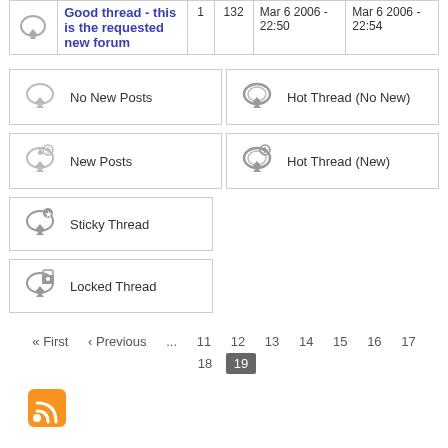|  | Thread |  |  | Date | Last Post |
| --- | --- | --- | --- | --- | --- |
| [icon] | Good thread - this is the requested new forum | 1 | 132 | Mar 6 2006 - 22:50 | Mar 6 2006 - 22:54 |
No New Posts
Hot Thread (No New)
New Posts
Hot Thread (New)
Sticky Thread
Locked Thread
« First  ‹ Previous  ...  11  12  13  14  15  16  17  18  19
[Figure (other): RSS feed icon - orange square with white radio waves symbol]